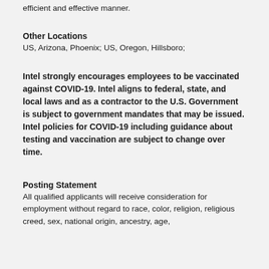efficient and effective manner.
Other Locations
US, Arizona, Phoenix; US, Oregon, Hillsboro;
Intel strongly encourages employees to be vaccinated against COVID-19. Intel aligns to federal, state, and local laws and as a contractor to the U.S. Government is subject to government mandates that may be issued. Intel policies for COVID-19 including guidance about testing and vaccination are subject to change over time.
Posting Statement
All qualified applicants will receive consideration for employment without regard to race, color, religion, religious creed, sex, national origin, ancestry, age,